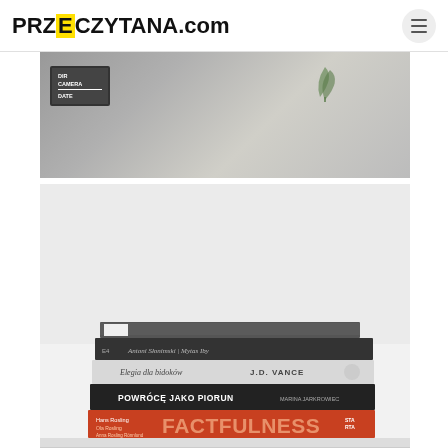PRZECZYTANA.com
[Figure (photo): Partial photo showing a clapperboard with text DIR, CAMERA, DATE on a grey fabric background with green leaf decoration]
[Figure (photo): Stack of books on a white surface against a light background: Antoni Slonimski Mytas Iby, Elegia dla bidokow J.D. Vance, Powroce jako piorun by Marina Jarkrowiec, Factfulness by Hans Rosling]